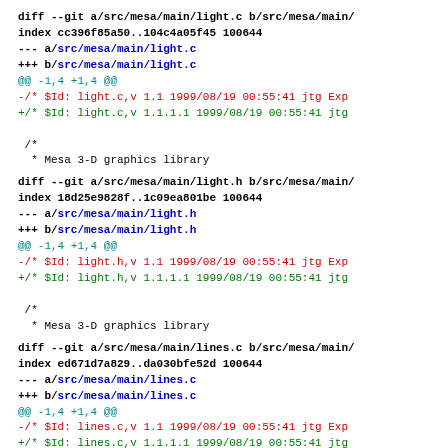diff --git a/src/mesa/main/light.c b/src/mesa/main/
index cc396f85a50..104c4a05f45 100644
--- a/src/mesa/main/light.c
+++ b/src/mesa/main/light.c
@@ -1,4 +1,4 @@
-/* $Id: light.c,v 1.1 1999/08/19 00:55:41 jtg Exp
+/* $Id: light.c,v 1.1.1.1 1999/08/19 00:55:41 jtg

  /*
   * Mesa 3-D graphics library
diff --git a/src/mesa/main/light.h b/src/mesa/main/
index 18d25e9828f..1c09ea801be 100644
--- a/src/mesa/main/light.h
+++ b/src/mesa/main/light.h
@@ -1,4 +1,4 @@
-/* $Id: light.h,v 1.1 1999/08/19 00:55:41 jtg Exp
+/* $Id: light.h,v 1.1.1.1 1999/08/19 00:55:41 jtg

  /*
   * Mesa 3-D graphics library
diff --git a/src/mesa/main/lines.c b/src/mesa/main/
index ed671d7a829..da030bfe52d 100644
--- a/src/mesa/main/lines.c
+++ b/src/mesa/main/lines.c
@@ -1,4 +1,4 @@
-/* $Id: lines.c,v 1.1 1999/08/19 00:55:41 jtg Exp
+/* $Id: lines.c,v 1.1.1.1 1999/08/19 00:55:41 jtg